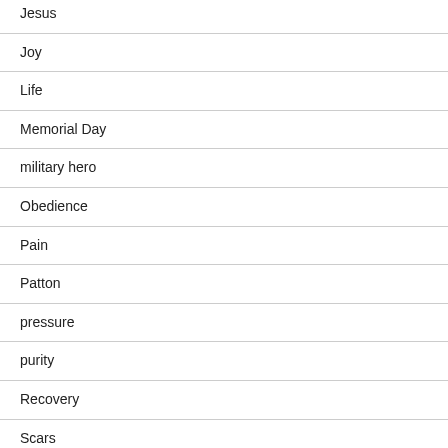Jesus
Joy
Life
Memorial Day
military hero
Obedience
Pain
Patton
pressure
purity
Recovery
Scars